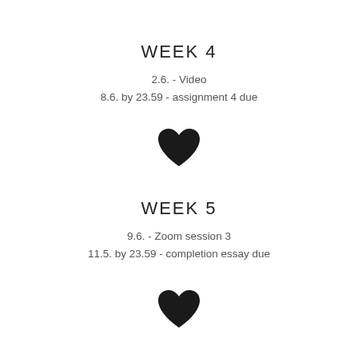WEEK 4
2.6. - Video
8.6. by 23.59 - assignment 4 due
[Figure (illustration): Black filled heart shape]
WEEK 5
9.6. - Zoom session 3
11.5. by 23.59 - completion essay due
[Figure (illustration): Black filled heart shape]